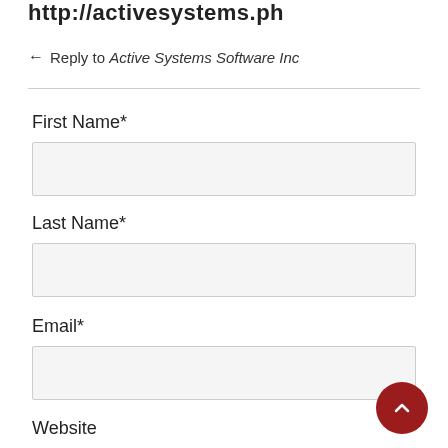http://activesystems.ph
← Reply to Active Systems Software Inc
First Name*
Last Name*
Email*
Website